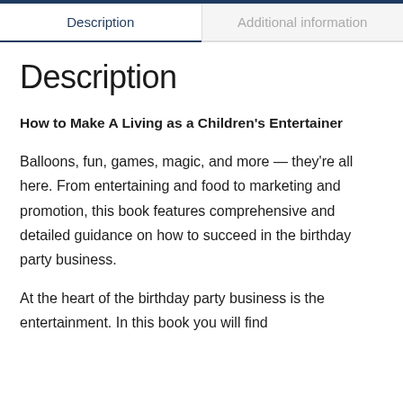Description
Additional information
Description
How to Make A Living as a Children's Entertainer
Balloons, fun, games, magic, and more — they're all here. From entertaining and food to marketing and promotion, this book features comprehensive and detailed guidance on how to succeed in the birthday party business.
At the heart of the birthday party business is the entertainment. In this book you will find